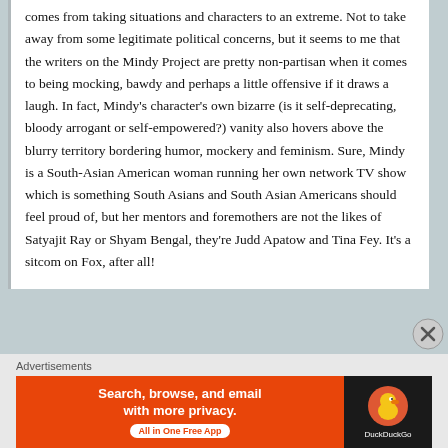comes from taking situations and characters to an extreme. Not to take away from some legitimate political concerns, but it seems to me that the writers on the Mindy Project are pretty non-partisan when it comes to being mocking, bawdy and perhaps a little offensive if it draws a laugh. In fact, Mindy's character's own bizarre (is it self-deprecating, bloody arrogant or self-empowered?) vanity also hovers above the blurry territory bordering humor, mockery and feminism. Sure, Mindy is a South-Asian American woman running her own network TV show which is something South Asians and South Asian Americans should feel proud of, but her mentors and foremothers are not the likes of Satyajit Ray or Shyam Bengal, they're Judd Apatow and Tina Fey. It's a sitcom on Fox, after all!
Advertisements
[Figure (other): DuckDuckGo advertisement banner: orange left side with text 'Search, browse, and email with more privacy. All in One Free App' and dark right side with DuckDuckGo duck logo and brand name.]